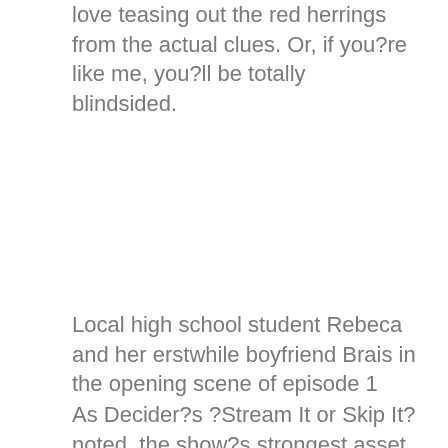love teasing out the red herrings from the actual clues. Or, if you?re like me, you?ll be totally blindsided.
Local high school student Rebeca and her erstwhile boyfriend Brais in the opening scene of episode 1
As Decider?s ?Stream It or Skip It? noted, the show?s strongest asset is its unfathomable